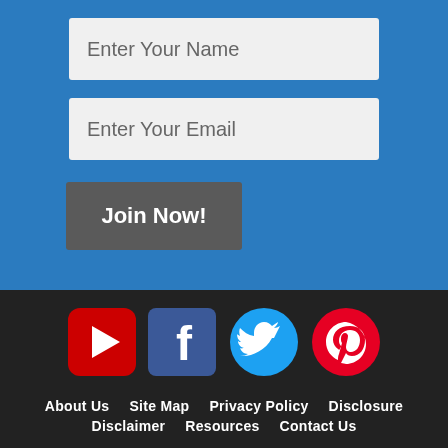Enter Your Name
Enter Your Email
Join Now!
[Figure (infographic): Social media icons row: YouTube (red), Facebook (dark blue), Twitter (blue), Pinterest (red)]
About Us   Site Map   Privacy Policy   Disclosure   Disclaimer   Resources   Contact Us